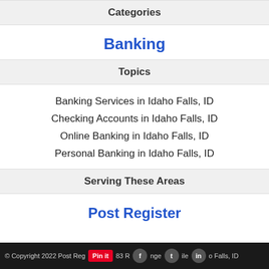Categories
Banking
Topics
Banking Services in Idaho Falls, ID
Checking Accounts in Idaho Falls, ID
Online Banking in Idaho Falls, ID
Personal Banking in Idaho Falls, ID
Serving These Areas
Post Register
© Copyright 2022 Post Register · 333 Northgate Mile · Idaho Falls, ID